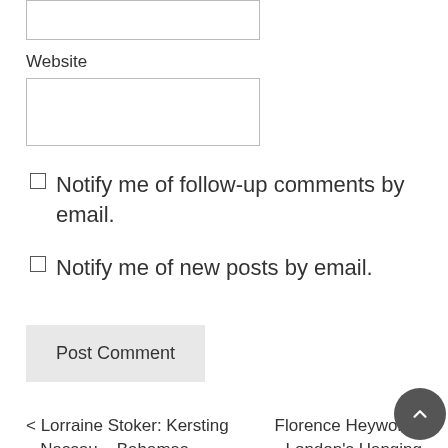Website
Notify me of follow-up comments by email.
Notify me of new posts by email.
Post Comment
< Lorraine Stoker: Kersting – Nassau – Bahamas – Chelsea Pottery
Florence Heyworth: London's Hanging Gardens of Babylon – Alexandra Road Estate Then and Now >